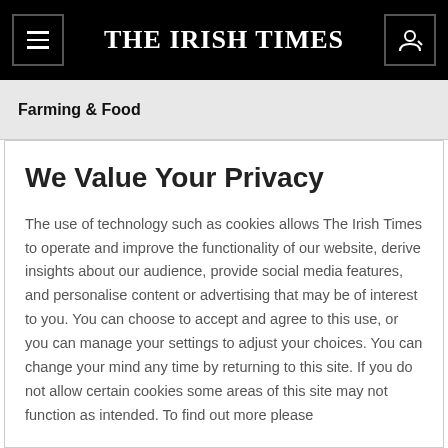THE IRISH TIMES
Farming & Food
We Value Your Privacy
The use of technology such as cookies allows The Irish Times to operate and improve the functionality of our website, derive insights about our audience, provide social media features, and personalise content or advertising that may be of interest to you. You can choose to accept and agree to this use, or you can manage your settings to adjust your choices. You can change your mind any time by returning to this site. If you do not allow certain cookies some areas of this site may not function as intended. To find out more please